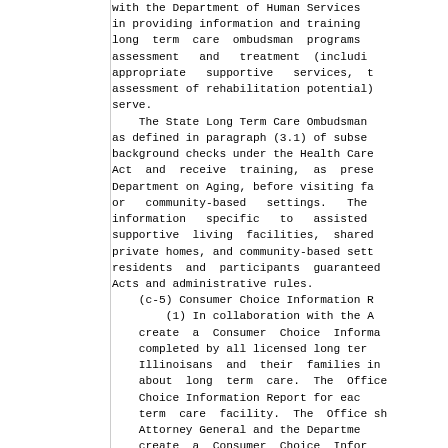with the Department of Human Services in providing information and training long term care ombudsman programs assessment and treatment (includi appropriate supportive services, t assessment of rehabilitation potential) serve.
    The State Long Term Care Ombudsman as defined in paragraph (3.1) of subse background checks under the Health Care Act and receive training, as prese Department on Aging, before visiting fa or community-based settings. The information specific to assisted supportive living facilities, shared private homes, and community-based sett residents and participants guaranteed Acts and administrative rules.
    (c-5) Consumer Choice Information R
        (1) In collaboration with the A create a Consumer Choice Informa completed by all licensed long ter Illinoisans and their families in about long term care. The Office Choice Information Report for eac term care facility. The Office sh Attorney General and the Departme create a Consumer Choice Infor facilities licensed under the ID/D the MC/DD Act.